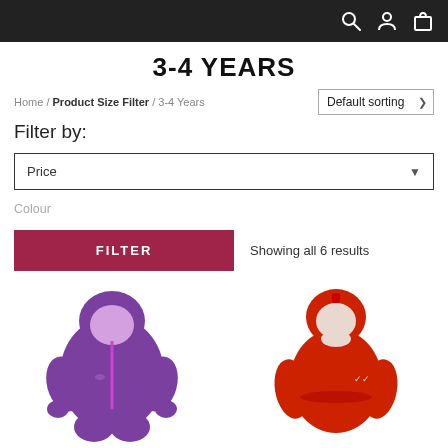Navigation header bar with search, account, and cart icons
3-4 YEARS
Home / Product Size Filter / 3-4 Years
Default sorting
Filter by:
Price
Colour
FILTER
Showing all 6 results
[Figure (photo): Purple children's all-in-one rainsuit with hood]
[Figure (photo): Red children's raincoat/jacket with hood]